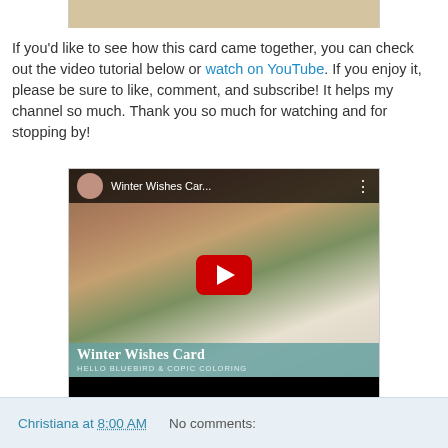[Figure (photo): Partial view of a card/craft image at the top of the page, cropped]
If you'd like to see how this card came together, you can check out the video tutorial below or watch on YouTube. If you enjoy it, please be sure to like, comment, and subscribe! It helps my channel so much. Thank you so much for watching and for stopping by!
[Figure (screenshot): YouTube video embed thumbnail showing 'Winter Wishes Car...' with a red play button, snowman card craft scene, and overlay text 'Winter Wishes Card - HELLO BLUEBIRD & COPIC COLORING']
Christiana at 8:00 AM    No comments: